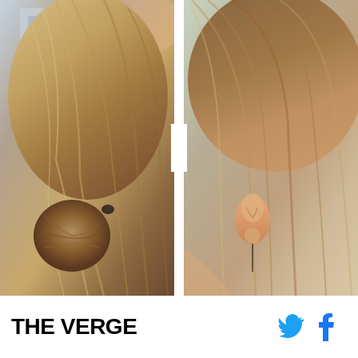[Figure (photo): A side-by-side comparison photo of a woman's hair. Left panel shows hair pulled back in a bun with a hair tie, photographed outdoors with a building visible in the background. Right panel shows hair worn down, revealing the ear with an earring, against a light green background. A white vertical divider separates the two panels.]
THE VERGE [Twitter icon] [Facebook icon]